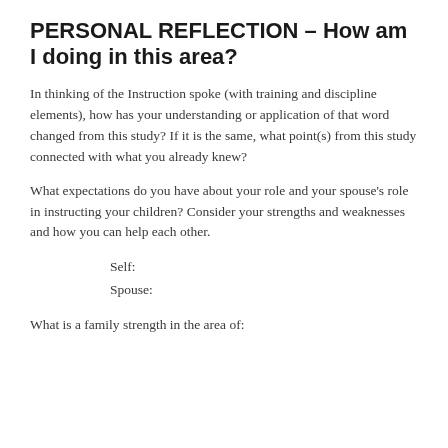PERSONAL REFLECTION – How am I doing in this area?
In thinking of the Instruction spoke (with training and discipline elements), how has your understanding or application of that word changed from this study? If it is the same, what point(s) from this study connected with what you already knew?
What expectations do you have about your role and your spouse's role in instructing your children? Consider your strengths and weaknesses and how you can help each other.
Self:
Spouse:
What is a family strength in the area of: